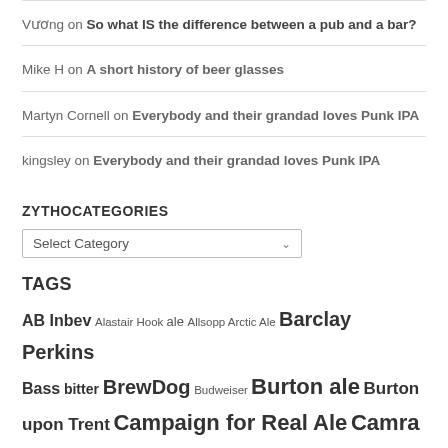Vương on So what IS the difference between a pub and a bar?
Mike H on A short history of beer glasses
Martyn Cornell on Everybody and their grandad loves Punk IPA
kingsley on Everybody and their grandad loves Punk IPA
ZYTHOCATEGORIES
Select Category (dropdown)
TAGS
AB Inbev Alastair Hook ale Allsopp Arctic Ale Barclay Perkins Bass bitter BrewDog Budweiser Burton ale Burton upon Trent Campaign for Real Ale Camra Carlsberg cask beer craft beer Dublin East India Pale Ale